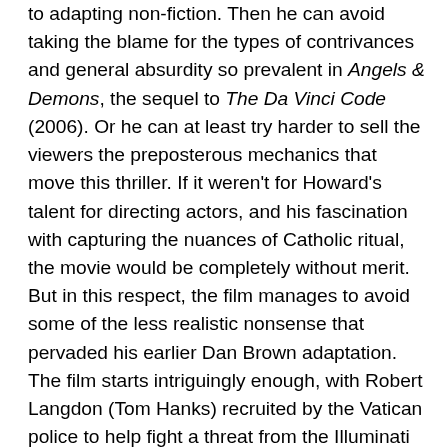to adapting non-fiction. Then he can avoid taking the blame for the types of contrivances and general absurdity so prevalent in Angels & Demons, the sequel to The Da Vinci Code (2006). Or he can at least try harder to sell the viewers the preposterous mechanics that move this thriller. If it weren't for Howard's talent for directing actors, and his fascination with capturing the nuances of Catholic ritual, the movie would be completely without merit. But in this respect, the film manages to avoid some of the less realistic nonsense that pervaded his earlier Dan Brown adaptation. The film starts intriguingly enough, with Robert Langdon (Tom Hanks) recruited by the Vatican police to help fight a threat from the Illuminati against the Vatican. The secret society's timing is particularly dangerous because this attack coincides with the papal conclave convened after the mysterious death of the pope. Langdon's skill in translating symbols will come in handy as he tries to solve the riddles that will lead him to a canister containing a rather unusual weapon of mass destruction, antimatter. Yes, that's right. Who would have thought that antimatter would be the MacGuffin in this summer thriller instead of Star Trek? While much lip service is paid to the science vs. religion aspect of